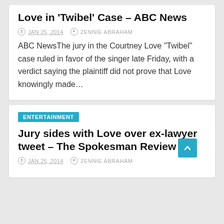Love in ‘Twibel’ Case – ABC News
JAN 25, 2014   ZENNIE ABRAHAM
ABC NewsThe jury in the Courtney Love “Twibel” case ruled in favor of the singer late Friday, with a verdict saying the plaintiff did not prove that Love knowingly made…
ENTERTAINMENT
Jury sides with Love over ex-lawyer tweet – The Spokesman Review
JAN 25, 2014   ZENNIE ABRAHAM